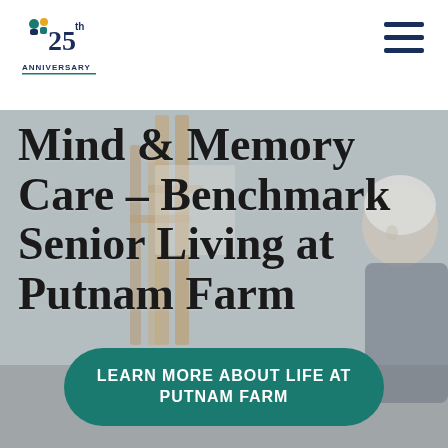[Figure (logo): Benchmark Senior Living 25th Anniversary logo with teal and blue icon, '25th' in dark navy, 'ANNIVERSARY' text below]
[Figure (photo): Background photo of art easels/wood frames in an indoor setting, blurred. Elderly woman with white hair partially visible on right edge.]
Mind & Memory Care – Benchmark Senior Living at Putnam Farm
LEARN MORE ABOUT LIFE AT PUTNAM FARM